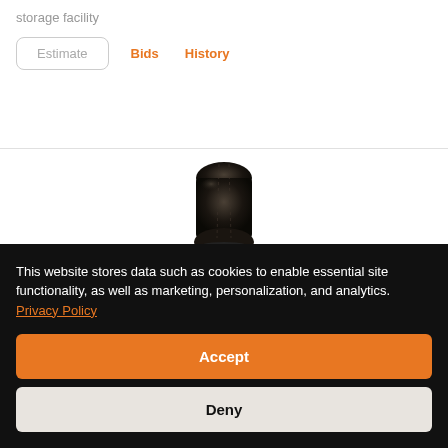storage facility
Estimate | Bids | History
[Figure (photo): Top view of a dark/black leather boot on white background]
This website stores data such as cookies to enable essential site functionality, as well as marketing, personalization, and analytics. Privacy Policy
Accept
Deny